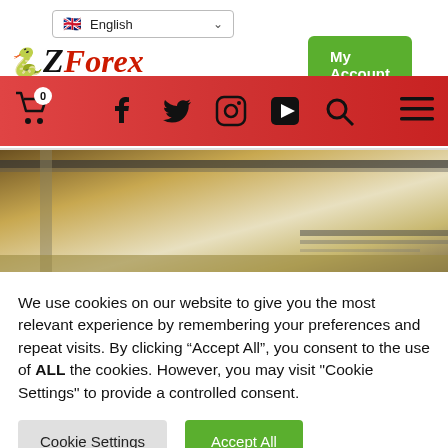EzForex - My Account - Language selector: English
[Figure (screenshot): Navigation bar with red background containing cart icon with 0 badge, social media icons (Facebook, Twitter, Instagram, YouTube), search icon, and hamburger menu icon]
[Figure (photo): Close-up photo of a desk or counter surface, appears to show a flat beige/cream surface with metallic edges or dividers]
We use cookies on our website to give you the most relevant experience by remembering your preferences and repeat visits. By clicking “Accept All”, you consent to the use of ALL the cookies. However, you may visit "Cookie Settings" to provide a controlled consent.
Cookie Settings | Accept All